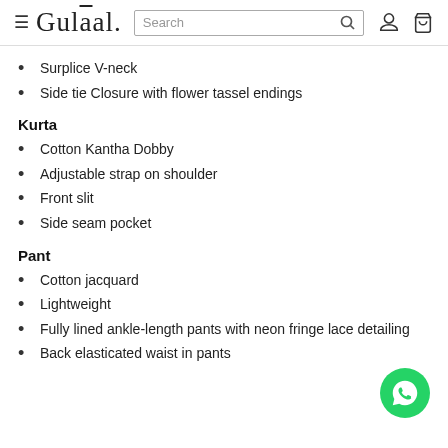≡ Gulāal. Search 🔍 👤 🛍
Surplice V-neck
Side tie Closure with flower tassel endings
Kurta
Cotton Kantha Dobby
Adjustable strap on shoulder
Front slit
Side seam pocket
Pant
Cotton jacquard
Lightweight
Fully lined ankle-length pants with neon fringe lace detailing
Back elasticated waist in pants